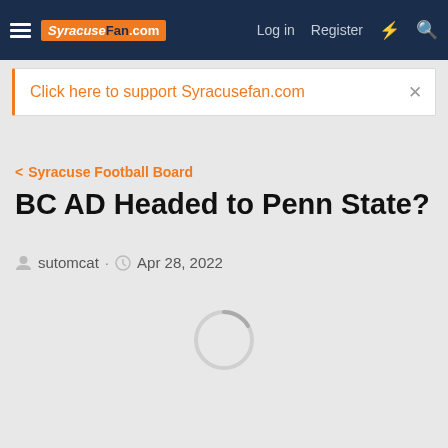SyracuseFan.com — Log in  Register
Click here to support Syracusefan.com
< Syracuse Football Board
BC AD Headed to Penn State?
sutomcat · Apr 28, 2022
[Figure (other): Loading spinner circle graphic]